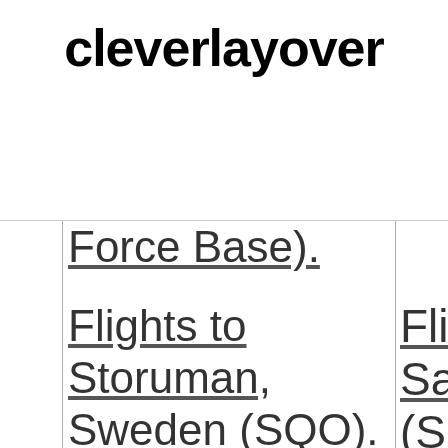cleverlayover
Force Base).
Flights to Storuman, Sweden (SQO).
Fli Sa (S Br Fli